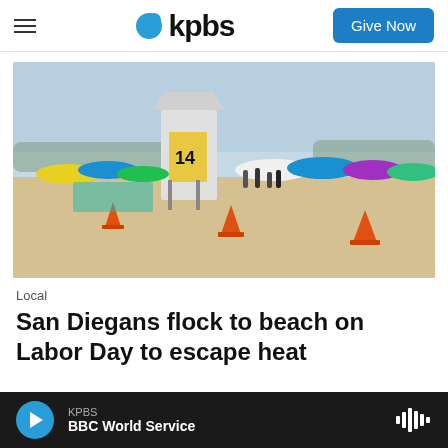kpbs | Give Now
[Figure (photo): Crowded San Diego beach scene with lifeguard tower #14, colorful umbrellas and tents, orange traffic cones in the foreground, hazy sky and trees in background.]
Local
San Diegans flock to beach on Labor Day to escape heat
KPBS | BBC World Service